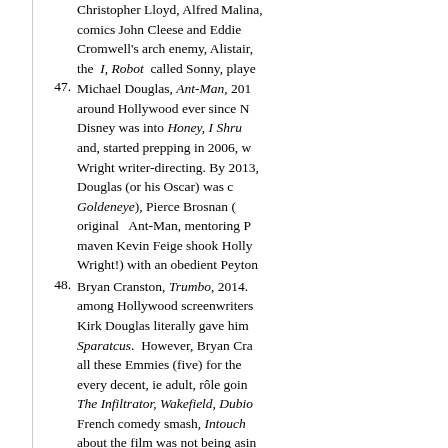Christopher Lloyd, Alfred Malina, comics John Cleese and Eddie Cromwell's arch enemy, Alistair, the I, Robot called Sonny, played
47. Michael Douglas, Ant-Man, 2015. around Hollywood ever since Disney was into Honey, I Shrunk and, started prepping in 2006, w Wright writer-directing. By 2013, Douglas (or his Oscar) was c Goldeneye), Pierce Brosnan ( original Ant-Man, mentoring P maven Kevin Feige shook Holly Wright!) with an obedient Peyton
48. Bryan Cranston, Trumbo, 2014. among Hollywood screenwriters Kirk Douglas literally gave him Sparatcus. However, Bryan Cra all these Emmies (five) for the every decent, ie adult, rôle goin The Infiltrator, Wakefield, Dubio French comedy smash, Intouch about the film was not being asin Dean O'Gorman was Kirk, just as Helen Mirren played the dreadeo played another scenarist legend Mankiewicz., His "test" has Churchill in Darkest Hour, 2016.
49. Jesse Eisenberg, Batman v Superman